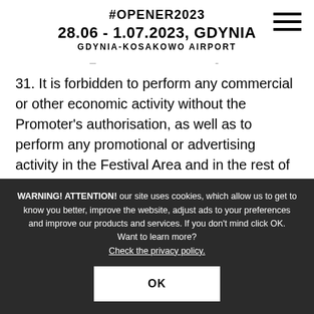#OPENER2023
28.06 - 1.07.2023, GDYNIA
GDYNIA-KOSAKOWO AIRPORT
31. It is forbidden to perform any commercial or other economic activity without the Promoter's authorisation, as well as to perform any promotional or advertising activity in the Festival Area and in the rest of Promoter Area.
32. The Promoter establishes the following Zones of
WARNING! ATTENTION! our site uses cookies, which allow us to get to know you better, improve the website, adjust ads to your preferences and improve our products and services. If you don't mind click OK.
Want to learn more?
Check the privacy policy.
OK